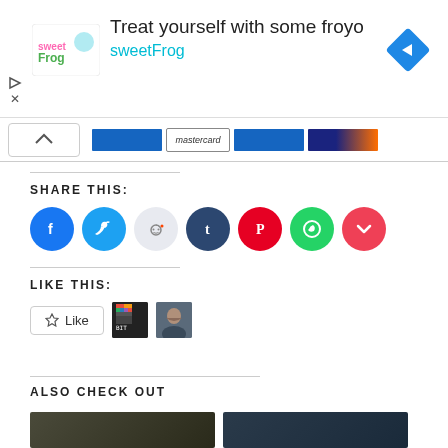[Figure (screenshot): sweetFrog frozen yogurt advertisement banner with logo, text 'Treat yourself with some froyo sweetFrog', navigation arrow icon, and ad controls]
[Figure (screenshot): Banner strip with chevron up button and payment method logos including Mastercard]
SHARE THIS:
[Figure (infographic): Social share buttons: Facebook (blue), Twitter (cyan), Reddit (light gray), Tumblr (dark blue), Pinterest (red), WhatsApp (green), Pocket (red)]
LIKE THIS:
[Figure (screenshot): Like button widget with star icon and two user avatars]
ALSO CHECK OUT
[Figure (photo): Two thumbnail images for related content]